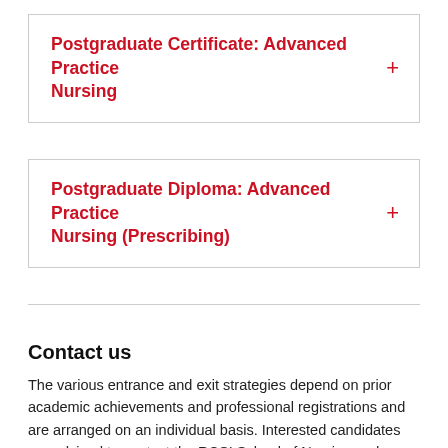Postgraduate Certificate: Advanced Practice Nursing
Postgraduate Diploma: Advanced Practice Nursing (Prescribing)
Contact us
The various entrance and exit strategies depend on prior academic achievements and professional registrations and are arranged on an individual basis. Interested candidates are advised to contact the RCSI School of Nursing and Midwifery to discuss individual requirements. The Programme Director for the ANP/AMP programmes, Dr Jarlath Varley, is a